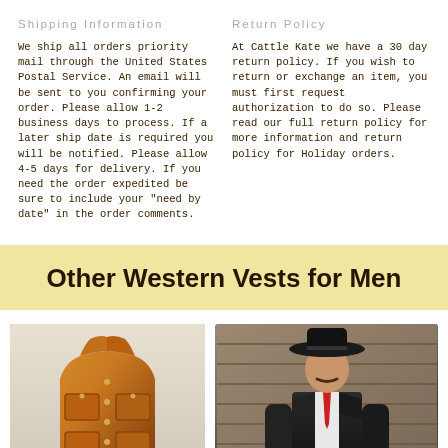Shipping Information
We ship all orders priority mail through the United States Postal Service. An email will be sent to you confirming your order. Please allow 1-2 business days to process. If a later ship date is required you will be notified. Please allow 4-5 days for delivery. If you need the order expedited be sure to include your "need by date" in the order comments.
Return Policy
At Cattle Kate we have a 30 day return policy. If you wish to return or exchange an item, you must first request authorization to do so. Please read our full return policy for more information and return policy for Holiday orders.
Other Western Vests for Men
[Figure (photo): Tan/brown leather western vest displayed on its own, showing collar and front pockets with snap buttons]
[Figure (photo): Man wearing black western vest with white shirt and red necktie, wearing a black wide-brim hat, standing in front of a wooden wall]